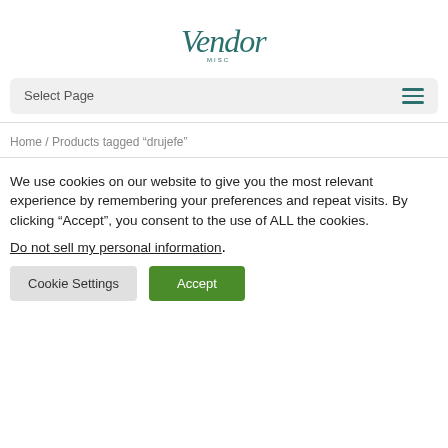[Figure (logo): Vendor MISC cursive/handwritten logo in teal color]
Select Page
Home / Products tagged “drujefe”
We use cookies on our website to give you the most relevant experience by remembering your preferences and repeat visits. By clicking “Accept”, you consent to the use of ALL the cookies.
Do not sell my personal information.
Cookie Settings
Accept